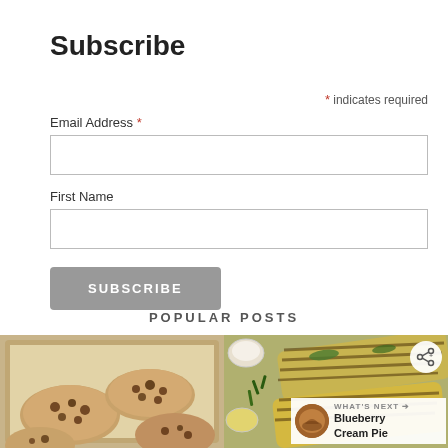Subscribe
* indicates required
Email Address *
First Name
SUBSCRIBE
POPULAR POSTS
[Figure (photo): Baking tray with chocolate chip cookies on parchment paper]
[Figure (photo): Grilled flatbread with herbs and olive oil, with small bowls of dipping sauce; share button overlay and 'What's Next: Blueberry Cream Pie' banner]